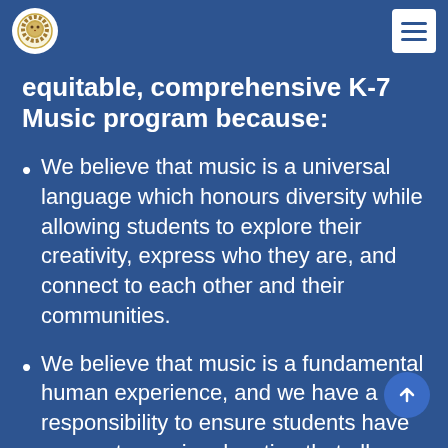Navigation bar with school logo and hamburger menu
equitable, comprehensive K-7 Music program because:
We believe that music is a universal language which honours diversity while allowing students to explore their creativity, express who they are, and connect to each other and their communities.
We believe that music is a fundamental human experience, and we have a responsibility to ensure students have access to music education that allows them to thrive regardless of cultural and